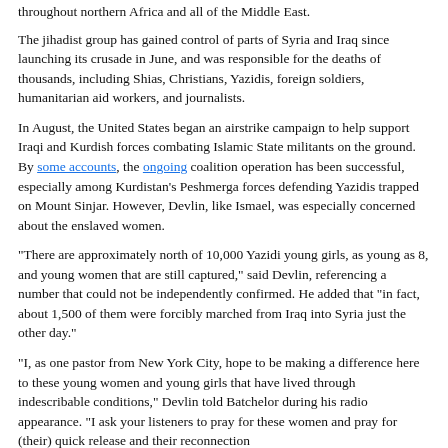throughout northern Africa and all of the Middle East.
The jihadist group has gained control of parts of Syria and Iraq since launching its crusade in June, and was responsible for the deaths of thousands, including Shias, Christians, Yazidis, foreign soldiers, humanitarian aid workers, and journalists.
In August, the United States began an airstrike campaign to help support Iraqi and Kurdish forces combating Islamic State militants on the ground. By some accounts, the ongoing coalition operation has been successful, especially among Kurdistan's Peshmerga forces defending Yazidis trapped on Mount Sinjar. However, Devlin, like Ismael, was especially concerned about the enslaved women.
"There are approximately north of 10,000 Yazidi young girls, as young as 8, and young women that are still captured," said Devlin, referencing a number that could not be independently confirmed. He added that "in fact, about 1,500 of them were forcibly marched from Iraq into Syria just the other day."
"I, as one pastor from New York City, hope to be making a difference here to these young women and young girls that have lived through indescribable conditions," Devlin told Batchelor during his radio appearance. "I ask your listeners to pray for these women and pray for (their) quick release and their reconnection